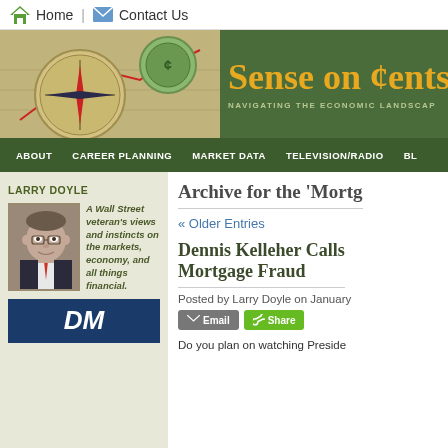Home | Contact Us
[Figure (logo): Sense on Cents banner with compass, coin on financial chart, and tagline NAVIGATING THE ECONOMIC LANDSCAPE]
ABOUT  CAREER PLANNING  MARKET DATA  TELEVISION/RADIO  BL
LARRY DOYLE
A Wall Street veteran's views and instincts on the markets, economy, and all things financial.
Archive for the 'Mortg
« Older Entries
Dennis Kelleher Calls Mortgage Fraud
Posted by Larry Doyle on January
Do you plan on watching Preside